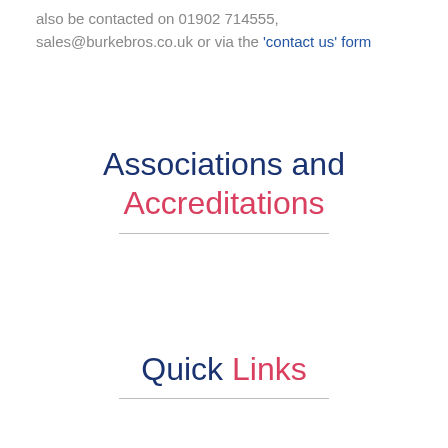also be contacted on 01902 714555, sales@burkebros.co.uk or via the 'contact us' form
Associations and Accreditations
Quick Links